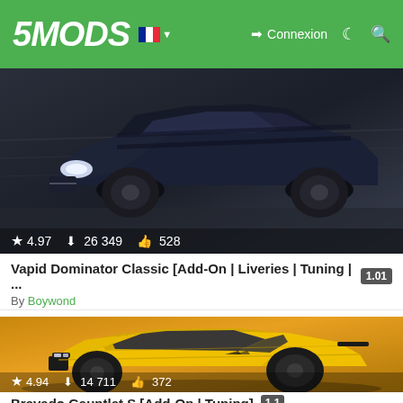5MODS | Connexion
[Figure (screenshot): Screenshot of a dark blue classic muscle car (GTA V Vapid Dominator Classic mod) with rating 4.97, 26 349 downloads, 528 likes]
Vapid Dominator Classic [Add-On | Liveries | Tuning | ... 1.01
By Boywond
[Figure (screenshot): Screenshot of a yellow muscle car (GTA V Bravado Gauntlet S mod) on a golden background with rating 4.94, 14 711 downloads, 372 likes]
Bravado Gauntlet S [Add-On | Tuning] 1.1